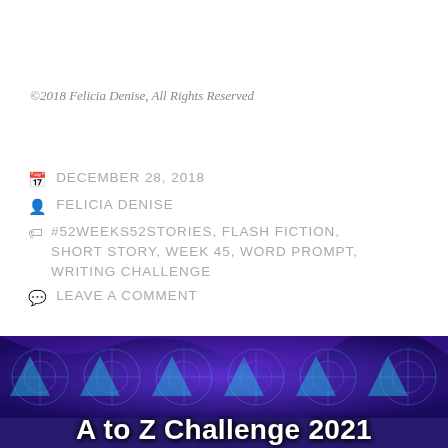©2018 Felicia Denise, All Rights Reserved
DECEMBER 28, 2018
FELICIA DENISE
#52WEEKS52STORIES, FLASH FICTION, SHORT STORY, WEEK 45, WORD PROMPT, WRITING CHALLENGE
LEAVE A COMMENT
[Figure (illustration): Colorful abstract geometric pattern banner in blue and purple tones with text 'A to Z Challenge 2021' overlaid at the bottom]